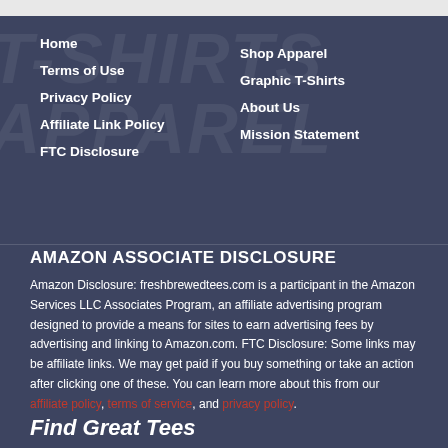Home
Terms of Use
Privacy Policy
Affiliate Link Policy
FTC Disclosure
Shop Apparel
Graphic T-Shirts
About Us
Mission Statement
AMAZON ASSOCIATE DISCLOSURE
Amazon Disclosure: freshbrewedtees.com is a participant in the Amazon Services LLC Associates Program, an affiliate advertising program designed to provide a means for sites to earn advertising fees by advertising and linking to Amazon.com. FTC Disclosure: Some links may be affiliate links. We may get paid if you buy something or take an action after clicking one of these. You can learn more about this from our affiliate policy, terms of service, and privacy policy.
Find Great Tees